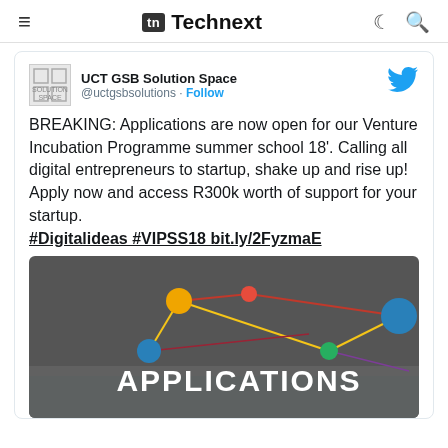≡  Technext  ☾ 🔍
UCT GSB Solution Space
@uctgsbsolutions · Follow
BREAKING: Applications are now open for our Venture Incubation Programme summer school 18'. Calling all digital entrepreneurs to startup, shake up and rise up! Apply now and access R300k worth of support for your startup. #Digitalideas #VIPSS18 bit.ly/2FyzmaE
[Figure (illustration): Promotional image with colorful network dots and lines on dark grey background, text 'APPLICATIONS' in white]